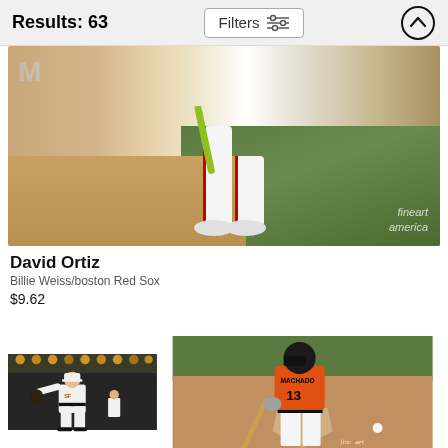Results: 63   Filters   ↑
[Figure (photo): Baseball player (David Ortiz) walking on field, legs and baseball bat visible, dusty infield with green grass background, Fine Art America watermark]
David Ortiz
Billie Weiss/boston Red Sox
$9.62
[Figure (photo): Baseball pitcher in white uniform throwing at night stadium with bright yellow/orange lights in background]
[Figure (photo): Baseball player Machado #13 in orange jersey batting, viewed from behind, with bat and ball visible, Fine Art America watermark]